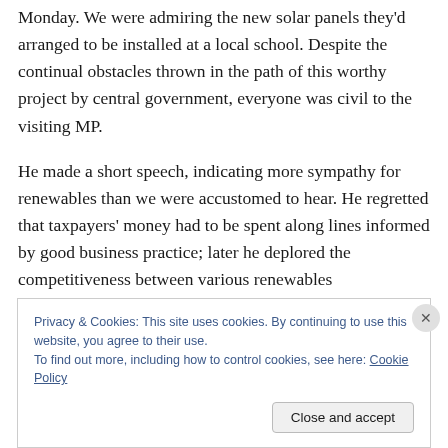Monday. We were admiring the new solar panels they'd arranged to be installed at a local school. Despite the continual obstacles thrown in the path of this worthy project by central government, everyone was civil to the visiting MP.
He made a short speech, indicating more sympathy for renewables than we were accustomed to hear. He regretted that taxpayers' money had to be spent along lines informed by good business practice; later he deplored the competitiveness between various renewables
Privacy & Cookies: This site uses cookies. By continuing to use this website, you agree to their use.
To find out more, including how to control cookies, see here: Cookie Policy
Close and accept